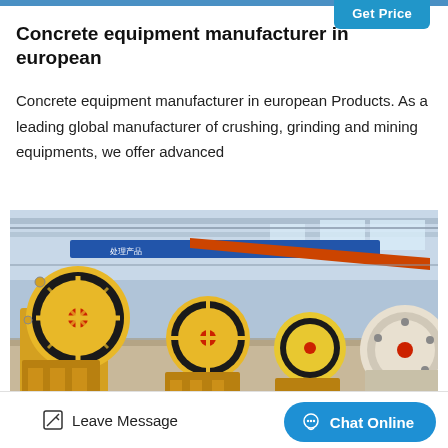Get Price
Concrete equipment manufacturer in european
Concrete equipment manufacturer in european Products. As a leading global manufacturer of crushing, grinding and mining equipments, we offer advanced
[Figure (photo): Industrial facility interior showing multiple jaw crushers with large yellow flywheels and black belts lined up on the factory floor, with overhead crane and structural steel frame visible.]
Leave Message | Chat Online